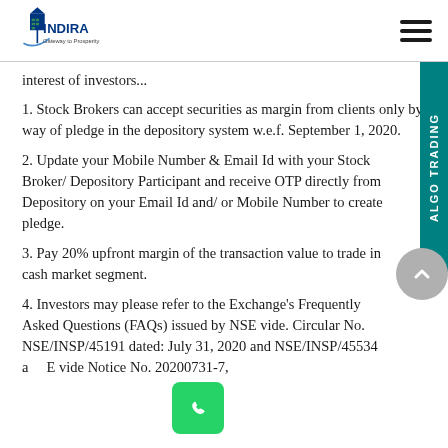INDIRA — Gateway to Prosperity
interest of investors...
1. Stock Brokers can accept securities as margin from clients only by way of pledge in the depository system w.e.f. September 1, 2020.
2. Update your Mobile Number & Email Id with your Stock Broker/ Depository Participant and receive OTP directly from Depository on your Email Id and/ or Mobile Number to create pledge.
3. Pay 20% upfront margin of the transaction value to trade in cash market segment.
4. Investors may please refer to the Exchange's Frequently Asked Questions (FAQs) issued by NSE vide. Circular No. NSE/INSP/45191 dated: July 31, 2020 and NSE/INSP/45534 and BSE vide Notice No. 20200731-7,